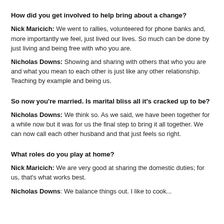How did you get involved to help bring about a change?
Nick Maricich: We went to rallies, volunteered for phone banks and, more importantly we feel, just lived our lives. So much can be done by just living and being free with who you are.
Nicholas Downs: Showing and sharing with others that who you are and what you mean to each other is just like any other relationship. Teaching by example and being us.
So now you're married. Is marital bliss all it's cracked up to be?
Nicholas Downs: We think so. As we said, we have been together for a while now but it was for us the final step to bring it all together. We can now call each other husband and that just feels so right.
What roles do you play at home?
Nick Maricich: We are very good at sharing the domestic duties; for us, that's what works best.
Nicholas Downs: We balance things out. I like to cook...